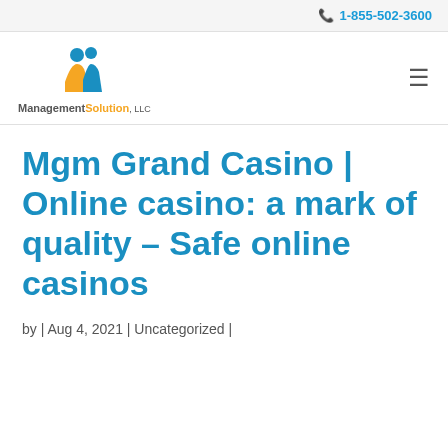1-855-502-3600
[Figure (logo): ManagementSolution LLC logo with two figures and orange/blue text]
Mgm Grand Casino | Online casino: a mark of quality – Safe online casinos
by | Aug 4, 2021 | Uncategorized |